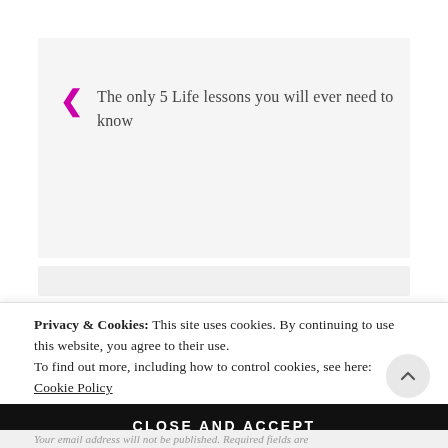The only 5 Life lessons you will ever need to know
Privacy & Cookies: This site uses cookies. By continuing to use this website, you agree to their use.
To find out more, including how to control cookies, see here:
Cookie Policy
CLOSE AND ACCEPT
Your email address will not be published. Required fields are